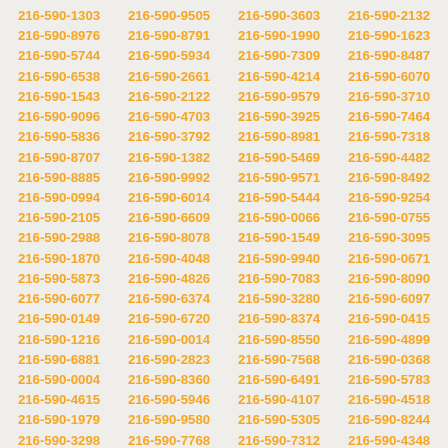216-590-1303 216-590-9505 216-590-3603 216-590-2132 216-590-8976 216-590-8791 216-590-1990 216-590-1623 216-590-5744 216-590-5934 216-590-7309 216-590-8487 216-590-6538 216-590-2661 216-590-4214 216-590-6070 216-590-1543 216-590-2122 216-590-9579 216-590-3710 216-590-9096 216-590-4703 216-590-3925 216-590-7464 216-590-5836 216-590-3792 216-590-8981 216-590-7318 216-590-8707 216-590-1382 216-590-5469 216-590-4482 216-590-8885 216-590-9992 216-590-9571 216-590-8492 216-590-0994 216-590-6014 216-590-5444 216-590-9254 216-590-2105 216-590-6609 216-590-0066 216-590-0755 216-590-2988 216-590-8078 216-590-1549 216-590-3095 216-590-1870 216-590-4048 216-590-9940 216-590-0671 216-590-5873 216-590-4826 216-590-7083 216-590-8090 216-590-6077 216-590-6374 216-590-3280 216-590-6097 216-590-0149 216-590-6720 216-590-8374 216-590-0415 216-590-1216 216-590-0014 216-590-8550 216-590-4899 216-590-6881 216-590-2823 216-590-7568 216-590-0368 216-590-0004 216-590-8360 216-590-6491 216-590-5783 216-590-4615 216-590-5946 216-590-4107 216-590-4518 216-590-1979 216-590-9580 216-590-5305 216-590-8244 216-590-3298 216-590-7768 216-590-7312 216-590-4348 216-590-6312 216-590-6119 216-590-8300 216-590-5538 216-590-0933 216-590-5043 216-590-8977 216-590-9633 216-590-1532 216-590-5113 216-590-4215 216-590-4258 216-590-8629 216-590-0215 216-590-5527 216-590-6677 216-590-5413 216-590-3819 216-590-2555 216-590-4769 216-590-1007 216-590-4235 216-590-9806 216-590-6417 216-590-7402 216-590-3807 216-590-0647 216-590-1081 216-590-2776 216-590-6459 216-590-6600 216-590-0909